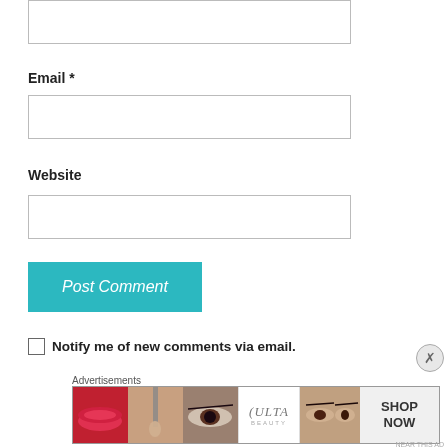[Figure (screenshot): Top portion of a comment form showing a text input box (partially visible at top)]
Email *
[Figure (screenshot): Email text input field (empty)]
Website
[Figure (screenshot): Website text input field (empty)]
[Figure (screenshot): Post Comment button (teal/cyan colored)]
Notify me of new comments via email.
Advertisements
[Figure (photo): ULTA Beauty advertisement banner showing makeup images — lips, brush, eyes, ULTA logo, face, eyes — with SHOP NOW text]